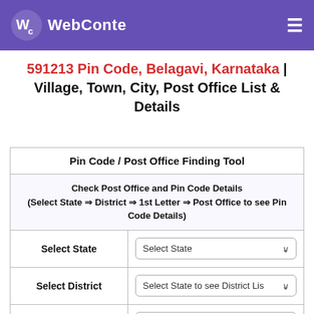WebConte
591213 Pin Code, Belagavi, Karnataka | Village, Town, City, Post Office List & Details
| Pin Code / Post Office Finding Tool |
| Check Post Office and Pin Code Details
(Select State ⇒ District ⇒ 1st Letter ⇒ Post Office to see Pin Code Details) |
| Select State | Select State |
| Select District | Select State to see District List |
| Starting Letter | Select District to see State List |